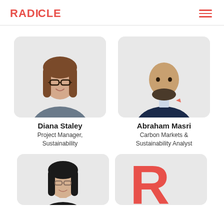RADICLE
[Figure (photo): Photo of Diana Staley, a woman with glasses and long brown hair, wearing a grey blazer, against a light grey background]
Diana Staley
Project Manager, Sustainability
[Figure (photo): Photo of Abraham Masri, a bald man with a beard wearing a navy suit, against a light grey background]
Abraham Masri
Carbon Markets & Sustainability Analyst
[Figure (photo): Photo of a woman with dark hair and glasses, wearing a dark top, partially visible, against a light grey background]
[Figure (logo): Large red letter R, Radicle logo, against a light grey background, partially visible]